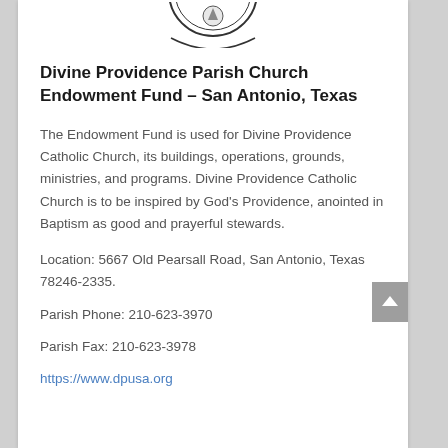[Figure (logo): Circular church/parish seal logo, partially visible at top of page]
Divine Providence Parish Church Endowment Fund – San Antonio, Texas
The Endowment Fund is used for Divine Providence Catholic Church, its buildings, operations, grounds, ministries, and programs. Divine Providence Catholic Church is to be inspired by God's Providence, anointed in Baptism as good and prayerful stewards.
Location: 5667 Old Pearsall Road, San Antonio, Texas 78246-2335.
Parish Phone: 210-623-3970
Parish Fax: 210-623-3978
https://www.dpusa.org